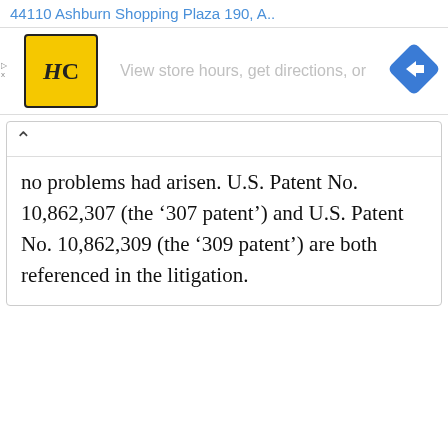44110 Ashburn Shopping Plaza 190, A..
[Figure (logo): HC logo — yellow square with black border, bold HC text inside; navigation direction diamond icon (blue with right-arrow) on the right; 'View store hours, get directions, or' text in gray center]
no problems had arisen. U.S. Patent No. 10,862,307 (the ‘307 patent’) and U.S. Patent No. 10,862,309 (the ‘309 patent’) are both referenced in the litigation.